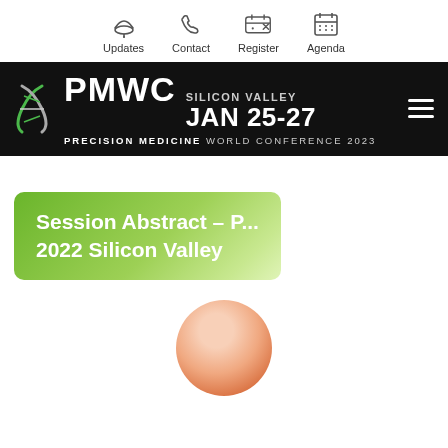Updates | Contact | Register | Agenda
[Figure (logo): PMWC Precision Medicine World Conference 2023 banner with logo, SILICON VALLEY JAN 25-27 text, and hamburger menu icon]
Session Abstract – P... 2022 Silicon Valley
[Figure (photo): Blurred circular portrait photo of a person]